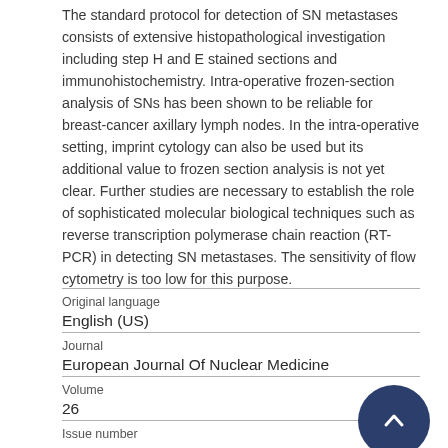The standard protocol for detection of SN metastases consists of extensive histopathological investigation including step H and E stained sections and immunohistochemistry. Intra-operative frozen-section analysis of SNs has been shown to be reliable for breast-cancer axillary lymph nodes. In the intra-operative setting, imprint cytology can also be used but its additional value to frozen section analysis is not yet clear. Further studies are necessary to establish the role of sophisticated molecular biological techniques such as reverse transcription polymerase chain reaction (RT-PCR) in detecting SN metastases. The sensitivity of flow cytometry is too low for this purpose.
| Original language | Journal | Volume | Issue number |
| --- | --- | --- | --- |
| English (US) |
| European Journal Of Nuclear Medicine |
| 26 |
|  |